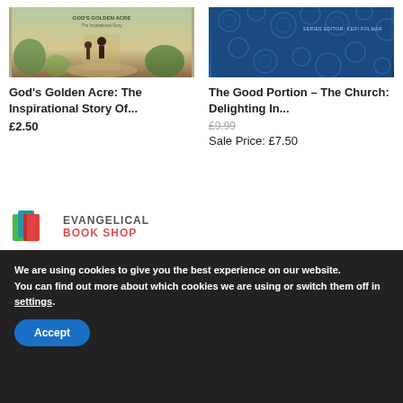[Figure (photo): Book cover for God's Golden Acre showing people walking on a path with greenery]
God's Golden Acre: The Inspirational Story Of...
£2.50
[Figure (photo): Book cover for The Good Portion – The Church, blue patterned background with SERIES EDITOR: KERI FOLMAR]
The Good Portion – The Church: Delighting In...
£9.99
Sale Price: £7.50
[Figure (logo): Evangelical Book Shop logo with colourful book icon and text EVANGELICAL BOOK SHOP]
We are using cookies to give you the best experience on our website.
You can find out more about which cookies we are using or switch them off in settings.
Accept